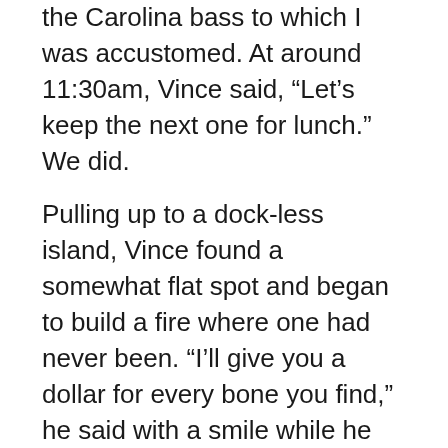the Carolina bass to which I was accustomed. At around 11:30am, Vince said, “Let’s keep the next one for lunch.” We did.
Pulling up to a dock-less island, Vince found a somewhat flat spot and began to build a fire where one had never been. “I’ll give you a dollar for every bone you find,” he said with a smile while he filleted the fish, using the oar as his cutting board. (No Clorox needed. No dollars either.) He opened an old coffee can, revealing a bag of flour, a small vial of oil, a can of beans and some chopped potatoes. He then set a pan on top of the fire, put in some oil, added the potatoes and floured fish and put the can of beans in the coals alongside to warm.  Within minutes, we had a perfect lakeside picnic. Vince often filled his drinking cup with water from the lake, but brought us bottled, knowing our stomachs weren’t as prepared for lakewater